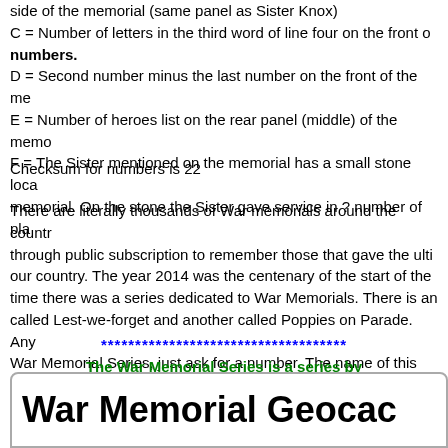side of the memorial (same panel as Sister Knox)
C = Number of letters in the third word of line four on the front o...
numbers.
D = Second number minus the last number on the front of the me...
E = Number of heroes list on the rear panel (middle) of the memo...
F = The Sister mentioned on the memorial has a small stone loca... memorial. On the stone the Sister gave service in ? number of pla...
Checksum for numbers is 22
There are literally thousands of War memorials around the countr... through public subscription to remember those that gave the ulti... our country. The year 2014 was the centenary of the start of the ... time there was a series dedicated to War Memorials. There is an ... called Lest-we-forget and another called Poppies on Parade. Any ... War Memorial Series, just ask for a number. The name of this seri... chosen from the very moving poem “For the Fallen” by Laurence ... and reading.”
************************************
The War Memorial Series is a series by
War Memorial Geocac